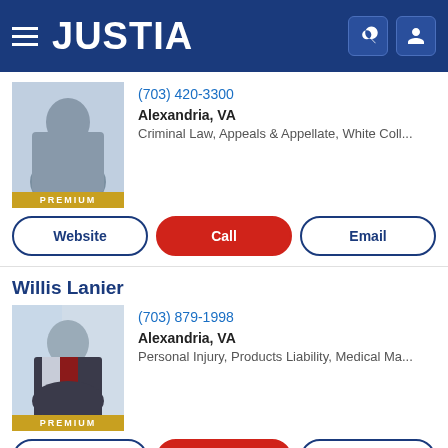JUSTIA
(703) 420-3300
Alexandria, VA
Criminal Law, Appeals & Appellate, White Coll...
Website | Call | Email
Willis Lanier
(703) 879-1998
Alexandria, VA
Personal Injury, Products Liability, Medical Ma...
Website | Call | Email
Faraji A. Rosenthall